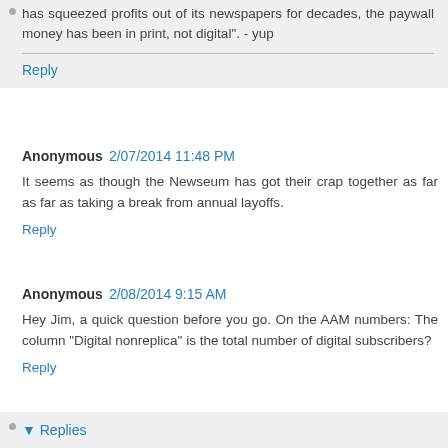has squeezed profits out of its newspapers for decades, the paywall money has been in print, not digital". - yup
Reply
Anonymous 2/07/2014 11:48 PM
It seems as though the Newseum has got their crap together as far as far as taking a break from annual layoffs.
Reply
Anonymous 2/08/2014 9:15 AM
Hey Jim, a quick question before you go. On the AAM numbers: The column "Digital nonreplica" is the total number of digital subscribers?
Reply
▼ Replies